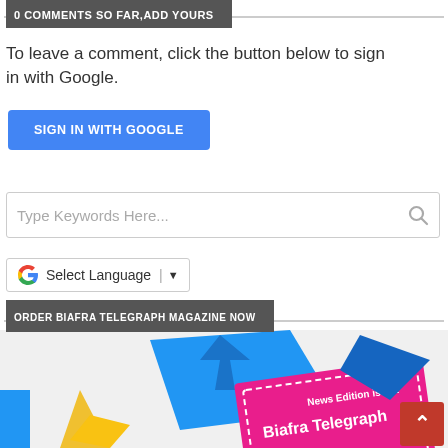0 COMMENTS SO FAR, ADD YOURS
To leave a comment, click the button below to sign in with Google.
SIGN IN WITH GOOGLE
[Figure (screenshot): Search box with placeholder text 'Type Keywords Here...' and a search icon on the right]
[Figure (screenshot): Google Translate widget showing 'G Select Language' with dropdown arrow]
ORDER BIAFRA TELEGRAPH MAGAZINE NOW
[Figure (illustration): Colorful magazine cover graphic with blue, pink, and yellow shapes. Text reads 'News Edition is out' and 'Biafra Telegraph']